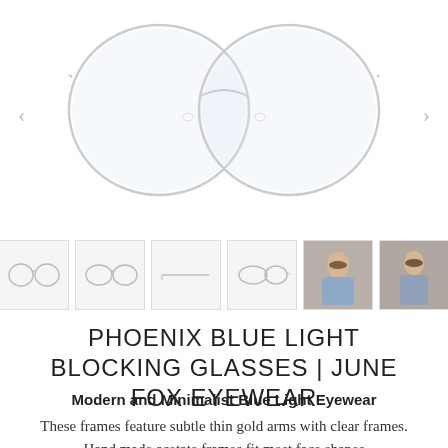[Figure (photo): Product photo of Phoenix blue light blocking glasses – clear round frames with thin gold arms, shown from front on white background. Navigation arrows on left and right. Below are 6 thumbnail images: 4 showing different views of the glasses as small icons, and 2 photos of a woman wearing the glasses.]
PHOENIX BLUE LIGHT BLOCKING GLASSES | JUNE FOX EYEWEAR
Modern and Minimalist Blue Light Eyewear
These frames feature subtle thin gold arms with clear frames. Hand made acetate frames fit most face shapes